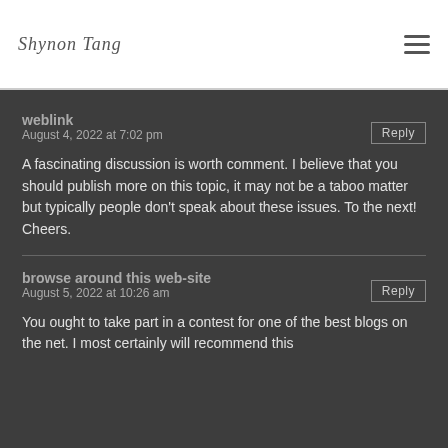Shynon Tang
weblink
August 4, 2022 at 7:02 pm
A fascinating discussion is worth comment. I believe that you should publish more on this topic, it may not be a taboo matter but typically people don't speak about these issues. To the next! Cheers.
browse around this web-site
August 5, 2022 at 10:26 am
You ought to take part in a contest for one of the best blogs on the net. I most certainly will recommend this